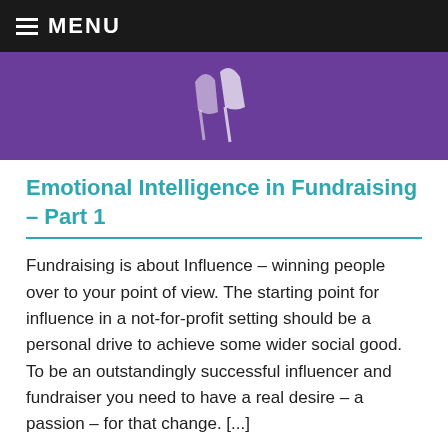MENU
[Figure (illustration): Purple/violet banner image with faint white abstract shapes or figures]
Emotional Intelligence in Fundraising – Part 1
Fundraising is about Influence – winning people over to your point of view. The starting point for influence in a not-for-profit setting should be a personal drive to achieve some wider social good. To be an outstandingly successful influencer and fundraiser you need to have a real desire – a passion – for that change. [...]
Read more